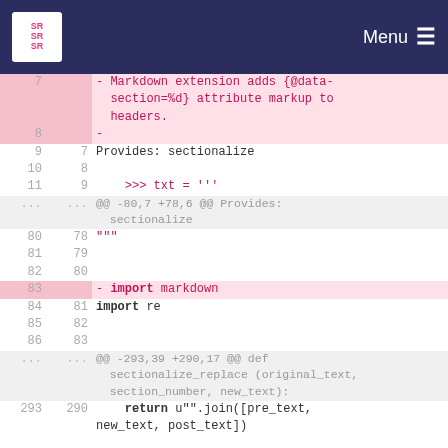[Figure (screenshot): Website header with logo and Menu button on dark navy background]
Code diff view showing changes to a Python file. Lines 7-8 (deleted): Markdown extension adds {@data-section=%d} attribute markup to headers. Lines 9-11: Provides: sectionalize, blank, >>> txt = '''. Hunk: @@ -80,7 +78,6 @@ Provides: sectionalize. Lines 80-82, 78-80: """, blank, blank. Line 83 (deleted): import markdown. Lines 84-86, 81-83: import re, blank, blank. Hunk: @@ -293,39 +290,17 @@ def sectionalize_replace (original_text, section_number, new_text):. Line 293/290: return u"".join([pre_text, new_text, post_text])